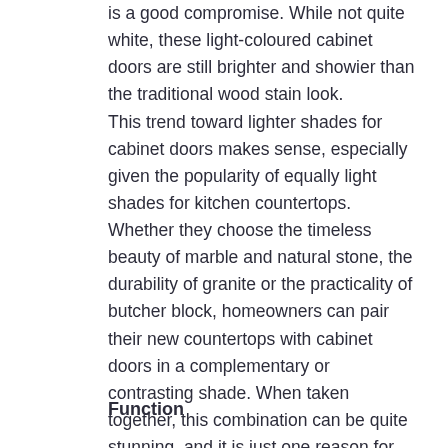is a good compromise. While not quite white, these light-coloured cabinet doors are still brighter and showier than the traditional wood stain look. This trend toward lighter shades for cabinet doors makes sense, especially given the popularity of equally light shades for kitchen countertops. Whether they choose the timeless beauty of marble and natural stone, the durability of granite or the practicality of butcher block, homeowners can pair their new countertops with cabinet doors in a complementary or contrasting shade. When taken together, this combination can be quite stunning, and it is just one reason for the popularity of choices like blonde wood with a light grain and off-white painted kitchen cabinet doors.
Function